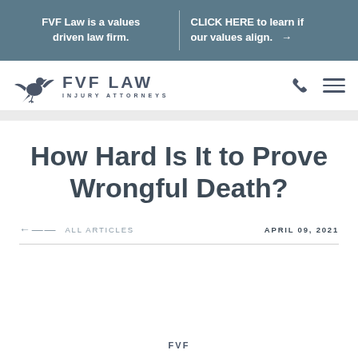FVF Law is a values driven law firm. | CLICK HERE to learn if our values align. →
[Figure (logo): FVF Law Injury Attorneys logo with eagle/bird icon]
How Hard Is It to Prove Wrongful Death?
← ALL ARTICLES    APRIL 09, 2021
FVF